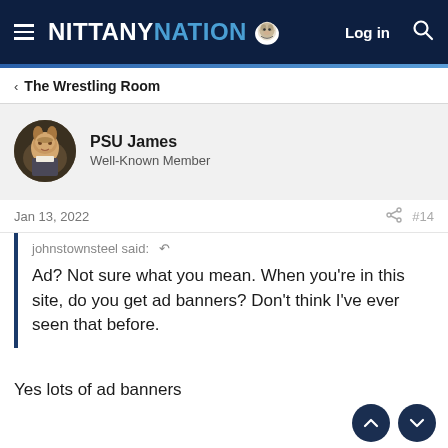NITTANY NATION — Log in
< The Wrestling Room
[Figure (photo): Round avatar of PSU James showing a portrait of Benjamin Franklin]
PSU James
Well-Known Member
Jan 13, 2022  #14
johnstownsteel said: ↩
Ad? Not sure what you mean. When you're in this site, do you get ad banners? Don't think I've ever seen that before.
Yes lots of ad banners